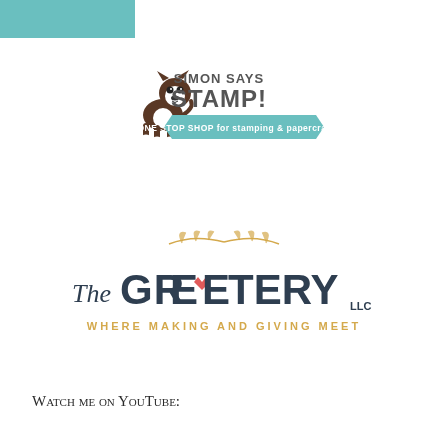[Figure (logo): Teal/mint colored rectangular bar in top-left corner]
[Figure (logo): Simon Says Stamp! logo with Boston Terrier dog illustration, bold text 'SIMON SAYS STAMP!' and mint green banner reading 'ONE STOP SHOP for stamping & papercrafting!']
[Figure (logo): The Greetery LLC logo with wheat/leaf decoration above, stylized text 'The GREETERY LLC' with a red heart incorporated into the E's, and tagline 'WHERE MAKING AND GIVING MEET' in golden/orange color]
Watch me on YouTube: